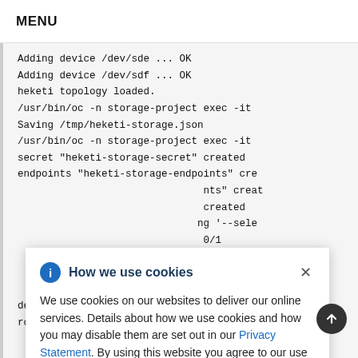MENU
Adding device /dev/sde ... OK
Adding device /dev/sdf ... OK
heketi topology loaded.
/usr/bin/oc -n storage-project exec -it
Saving /tmp/heketi-storage.json
/usr/bin/oc -n storage-project exec -it
secret "heketi-storage-secret" created
endpoints "heketi-storage-endpoints" cre
...nts" creat
...created
...ng '--sele
0/1
label --o
nts" label
delete a...
deploymentconfig deploy-heketi" deleted
route "deploy-heketi" deleted
How we use cookies

We use cookies on our websites to deliver our online services. Details about how we use cookies and how you may disable them are set out in our Privacy Statement. By using this website you agree to our use of cookies.